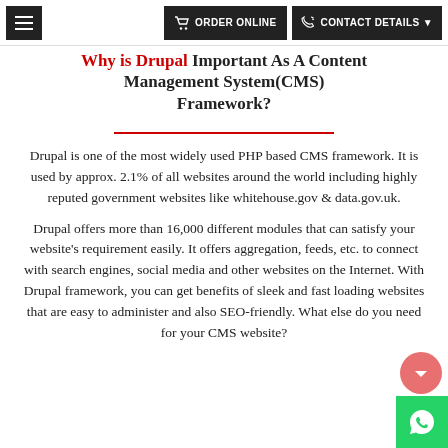≡  ORDER ONLINE   CONTACT DETAILS
Why is Drupal Important As A Content Management System(CMS) Framework?
Drupal is one of the most widely used PHP based CMS framework. It is used by approx. 2.1% of all websites around the world including highly reputed government websites like whitehouse.gov & data.gov.uk.
Drupal offers more than 16,000 different modules that can satisfy your website's requirement easily. It offers aggregation, feeds, etc. to connect with search engines, social media and other websites on the Internet. With Drupal framework, you can get benefits of sleek and fast loading websites that are easy to administer and also SEO-friendly. What else do you need for your CMS website?